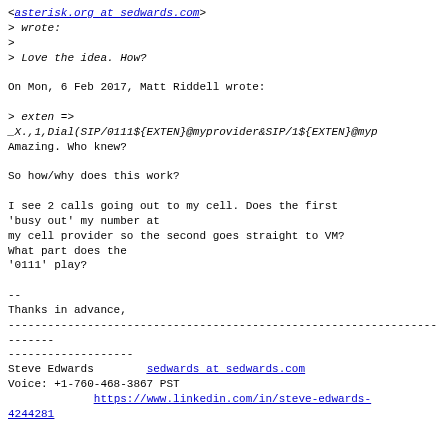<asterisk.org at sedwards.com>
> wrote:
>
> Love the idea. How?

On Mon, 6 Feb 2017, Matt Riddell wrote:

> exten =>
_X.,1,Dial(SIP/0111${EXTEN}@myprovider&SIP/1${EXTEN}@myp

Amazing. Who knew?

So how/why does this work?

I see 2 calls going out to my cell. Does the first
'busy out' my number at
my cell provider so the second goes straight to VM?
What part does the
'0111' play?

--
Thanks in advance,
------------------------------------------------------------------------
-------------------
Steve Edwards        sedwards at sedwards.com
Voice: +1-760-468-3867 PST
             https://www.linkedin.com/in/steve-edwards-4244281